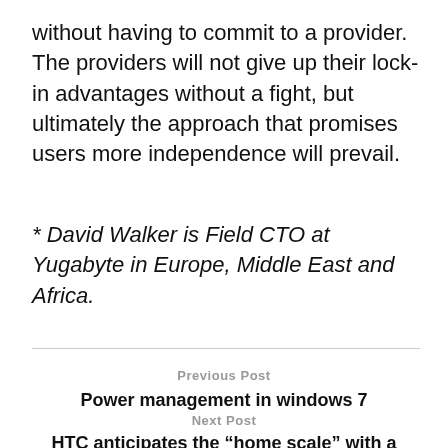without having to commit to a provider. The providers will not give up their lock-in advantages without a fight, but ultimately the approach that promises users more independence will prevail.
* David Walker is Field CTO at Yugabyte in Europe, Middle East and Africa.
Previous Post
Power management in windows 7
Next Post
HTC anticipates the “home scale” with a configuration of 6 base stations